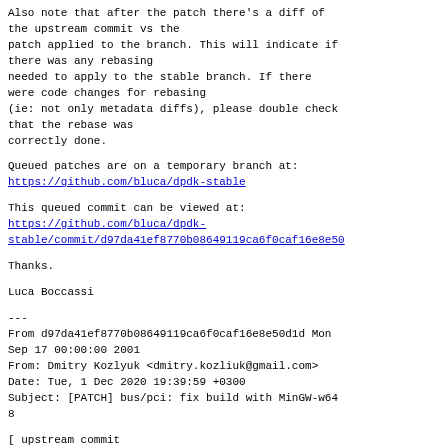Also note that after the patch there's a diff of
the upstream commit vs the
patch applied to the branch. This will indicate if
there was any rebasing
needed to apply to the stable branch. If there
were code changes for rebasing
(ie: not only metadata diffs), please double check
that the rebase was
correctly done.
Queued patches are on a temporary branch at:
https://github.com/bluca/dpdk-stable
This queued commit can be viewed at:
https://github.com/bluca/dpdk-stable/commit/d97da41ef8770b08649119ca6f0caf16e8e50
Thanks.
Luca Boccassi
---
From d97da41ef8770b08649119ca6f0caf16e8e50d1d Mon
Sep 17 00:00:00 2001
From: Dmitry Kozlyuk <dmitry.kozliuk@gmail.com>
Date: Tue, 1 Dec 2020 19:39:59 +0300
Subject: [PATCH] bus/pci: fix build with MinGW-w64
8
[ upstream commit